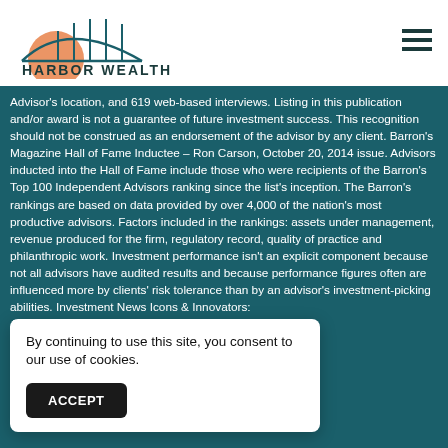Harbor Wealth
Advisor's location, and 619 web-based interviews. Listing in this publication and/or award is not a guarantee of future investment success. This recognition should not be construed as an endorsement of the advisor by any client. Barron's Magazine Hall of Fame Inductee – Ron Carson, October 20, 2014 issue. Advisors inducted into the Hall of Fame include those who were recipients of the Barron's Top 100 Independent Advisors ranking since the list's inception. The Barron's rankings are based on data provided by over 4,000 of the nation's most productive advisors. Factors included in the rankings: assets under management, revenue produced for the firm, regulatory record, quality of practice and philanthropic work. Investment performance isn't an explicit component because not all advisors have audited results and because performance figures often are influenced more by clients' risk tolerance than by an advisor's investment-picking abilities. Investment News Icons & Innovators: Award… rec… ned new… pu… d no…
By continuing to use this site, you consent to our use of cookies.